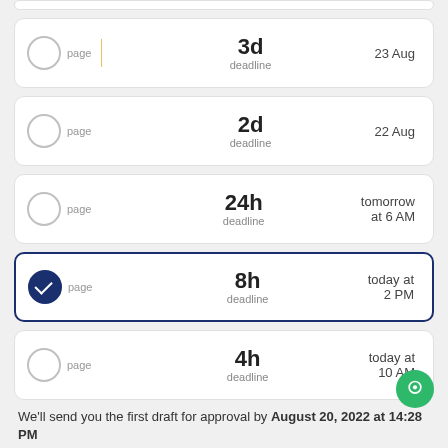page | 3d deadline | 23 Aug
page | 2d deadline | 22 Aug
page | 24h deadline | tomorrow at 6 AM
page | 8h deadline | today at 2 PM (selected)
page | 4h deadline | today at 10 AM
We'll send you the first draft for approval by August 20, 2022 at 14:28 PM